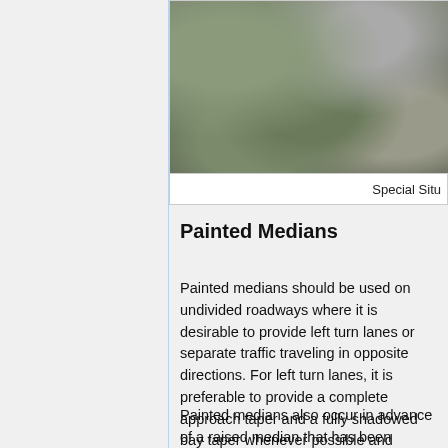[Figure (photo): Aerial photograph showing rooftops and trees, partially visible at the top of the page]
Special Situ
Painted Medians
Painted medians should be used on undivided roadways where it is desirable to provide left turn lanes or separate traffic traveling in opposite directions. For left turn lanes, it is preferable to provide a complete approach taper and a fully shadowed bay taper whenever possible and pavement width permits.
Painted medians also occur in advance of a raised median that has been